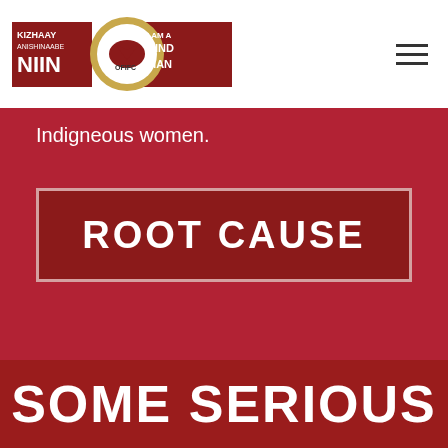[Figure (logo): Kizhaay Anishinaabe Niin / I Am A Kind Man logo with OFIFC emblem]
Indigneous women.
ROOT CAUSE
SOME SERIOUS